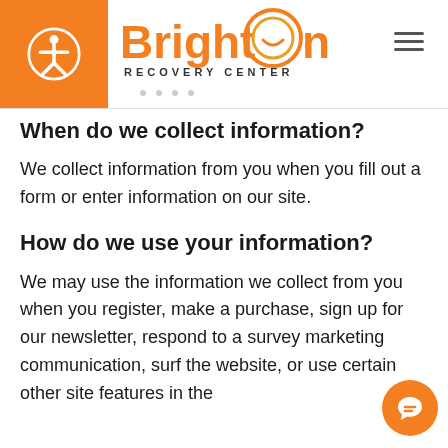[Figure (logo): Brighton Recovery Center logo with orange circular icon containing a smiley face design, text 'BrightOn' in orange and 'RECOVERY CENTER' in dark spaced letters]
When do we collect information?
We collect information from you when you fill out a form or enter information on our site.
How do we use your information?
We may use the information we collect from you when you register, make a purchase, sign up for our newsletter, respond to a survey marketing communication, surf the website, or use certain other site features in the